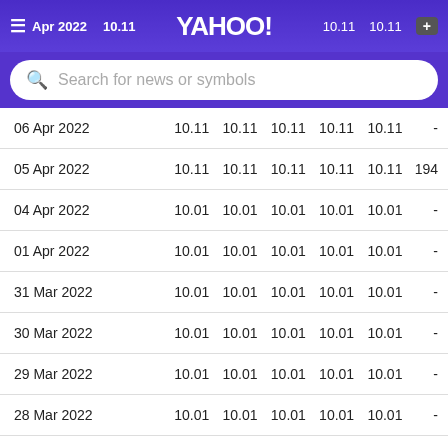Apr 2022  10.11  YAHOO!  10.11  10.11
| Date | Open | High | Low | Close | Adj Close | Volume |
| --- | --- | --- | --- | --- | --- | --- |
| 06 Apr 2022 | 10.11 | 10.11 | 10.11 | 10.11 | 10.11 | - |
| 05 Apr 2022 | 10.11 | 10.11 | 10.11 | 10.11 | 10.11 | 194 |
| 04 Apr 2022 | 10.01 | 10.01 | 10.01 | 10.01 | 10.01 | - |
| 01 Apr 2022 | 10.01 | 10.01 | 10.01 | 10.01 | 10.01 | - |
| 31 Mar 2022 | 10.01 | 10.01 | 10.01 | 10.01 | 10.01 | - |
| 30 Mar 2022 | 10.01 | 10.01 | 10.01 | 10.01 | 10.01 | - |
| 29 Mar 2022 | 10.01 | 10.01 | 10.01 | 10.01 | 10.01 | - |
| 28 Mar 2022 | 10.01 | 10.01 | 10.01 | 10.01 | 10.01 | - |
| 25 Mar 2022 | 10.01 | 10.01 | 10.01 | 10.01 | 10.01 | - |
| 24 Mar 2022 | 10.01 | 10.01 | 10.01 | 10.01 | 10.01 | - |